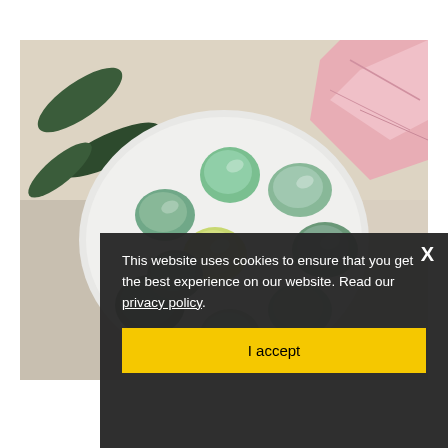[Figure (photo): Overhead photo of polished green aventurine tumbled stones in a white ceramic bowl, with dark green leaves on the left and rough pink rose quartz crystal on the upper right, all on a light beige background.]
This website uses cookies to ensure that you get the best experience on our website. Read our privacy policy.
I accept